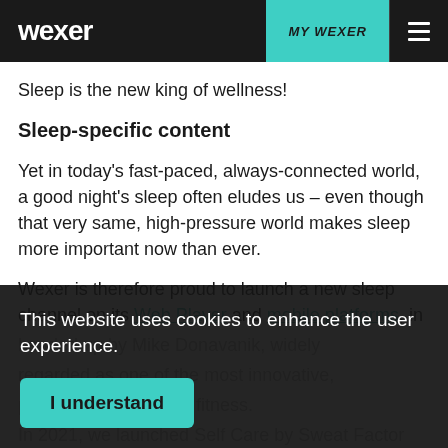wexer | MY WEXER
Sleep is the new king of wellness!
Sleep-specific content
Yet in today’s fast-paced, always-connected world, a good night’s sleep often eludes us – even though that very same, high-pressure world makes sleep more important now than ever.
Wexer is therefore proud to launch a new sleep channel on its Web Player and mobile platforms, in
This website uses cookies to enhance the user experience.
I understand